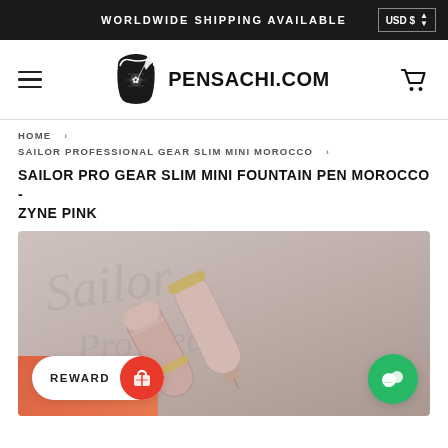WORLDWIDE SHIPPING AVAILABLE  USD $
[Figure (logo): Pensachi.com logo with stylized scroll and fountain pen icon]
HOME › SAILOR PROFESSIONAL GEAR SLIM MINI MOROCCO ›
SAILOR PRO GEAR SLIM MINI FOUNTAIN PEN MOROCCO - ZYNE PINK
[Figure (photo): Close-up photo of Sailor Pro Gear Slim Mini fountain pen in pink/Morocco colorway with orange accent background, showing two pen caps/bodies]
REWARD
Chat bubble / support button